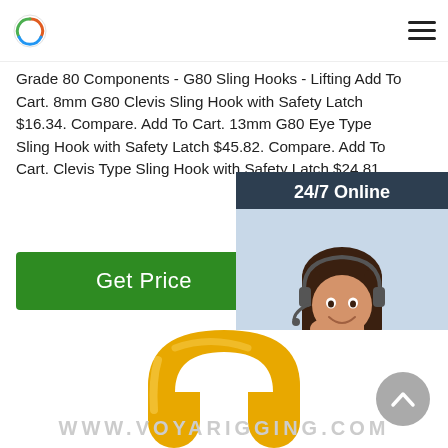Grade 80 Components - G80 Sling Hooks - Lifting Add To Cart. 8mm G80 Clevis Sling Hook with Safety Latch $16.34. Compare. Add To Cart. 13mm G80 Eye Type Sling Hook with Safety Latch $45.82. Compare. Add To Cart. Clevis Type Sling Hook with Safety Latch $24.81.
[Figure (other): Green 'Get Price' button]
[Figure (other): 24/7 Online chat widget with woman wearing headset, 'Click here for free chat!' text, and orange QUOTATION button]
[Figure (photo): Yellow/gold U-shaped shackle or lifting component photographed on white background]
WWW.VOYARIGGING.COM